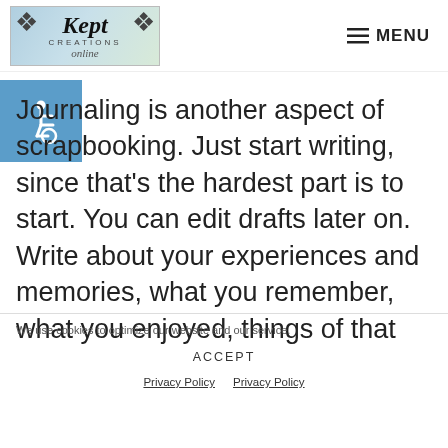[Figure (logo): Kept Creations Online logo with decorative flourishes on a light blue-green gradient background]
≡ MENU
[Figure (illustration): Accessibility wheelchair icon on a blue square background]
Journaling is another aspect of scrapbooking. Just start writing, since that's the hardest part is to start. You can edit drafts later on. Write about your experiences and memories, what you remember, what you enjoyed, things of that
We use cookies to optimize our website and our service.
ACCEPT
Privacy Policy  Privacy Policy